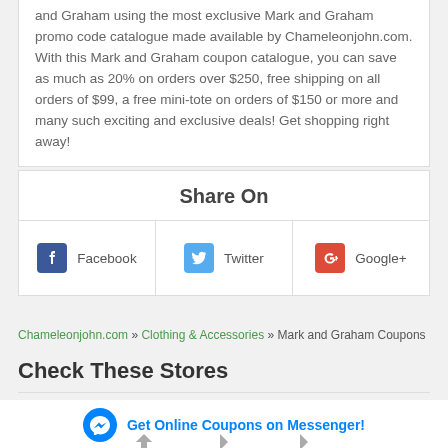and Graham using the most exclusive Mark and Graham promo code catalogue made available by Chameleonjohn.com. With this Mark and Graham coupon catalogue, you can save as much as 20% on orders over $250, free shipping on all orders of $99, a free mini-tote on orders of $150 or more and many such exciting and exclusive deals! Get shopping right away!
Share On
Facebook
Twitter
Google+
Chameleonjohn.com » Clothing & Accessories » Mark and Graham Coupons
Check These Stores
Get Online Coupons on Messenger!